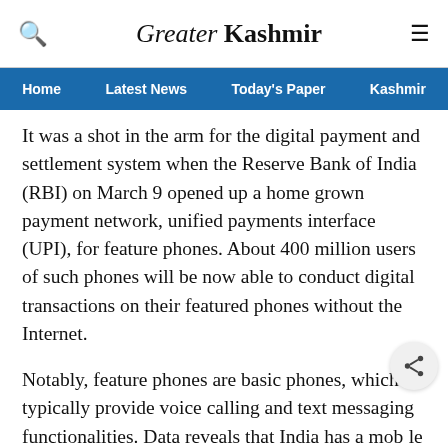Greater Kashmir
Home | Latest News | Today's Paper | Kashmir
It was a shot in the arm for the digital payment and settlement system when the Reserve Bank of India (RBI) on March 9 opened up a home grown payment network, unified payments interface (UPI), for feature phones. About 400 million users of such phones will be now able to conduct digital transactions on their featured phones without the Internet.
Notably, feature phones are basic phones, which typically provide voice calling and text messaging functionalities. Data reveals that India has a mobile phone consumer base of about 118 crore, of which